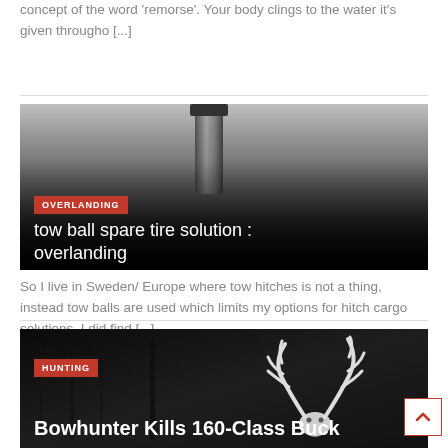concept of the word 'remorse'. Your body clings to the water it's given througho [...]
[Figure (photo): Dark monochrome photo showing a vertical pipe/pole against a blurred background, overlaid with an OVERLANDING category tag and article title: 'tow ball spare tire solution : overlanding']
So I live in Sweden/ Europe where tow hitches is not a thing, instead tow balls are used which limits my options for hitch cargo solutions. I did find [...]
[Figure (photo): Dark/night-vision style photo showing a deer with large antlers, overlaid with a HUNTING category tag and article title: 'Bowhunter Kills 160-Class Buck']